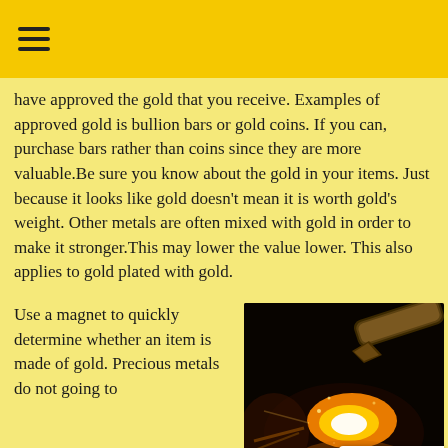☰
have approved the gold that you receive. Examples of approved gold is bullion bars or gold coins. If you can, purchase bars rather than coins since they are more valuable.Be sure you know about the gold in your items. Just because it looks like gold doesn't mean it is worth gold's weight. Other metals are often mixed with gold in order to make it stronger.This may lower the value lower. This also applies to gold plated with gold.
Use a magnet to quickly determine whether an item is made of gold. Precious metals do not going to
[Figure (photo): A nozzle or torch pointing at a bright glowing molten gold or metal pool, with sparks and light, on a dark background]